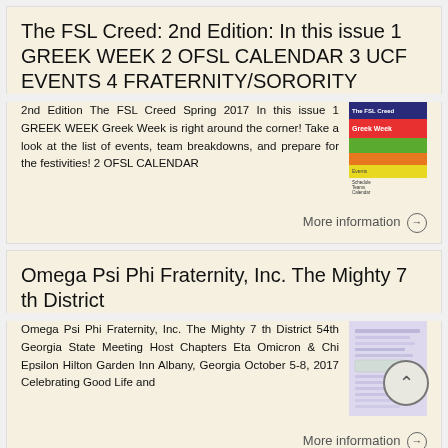The FSL Creed: 2nd Edition: In this issue 1 GREEK WEEK 2 OFSL CALENDAR 3 UCF EVENTS 4 FRATERNITY/SORORITY
2nd Edition The FSL Creed Spring 2017 In this issue 1 GREEK WEEK Greek Week is right around the corner! Take a look at the list of events, team breakdowns, and prepare for the festivities! 2 OFSL CALENDAR
More information →
Omega Psi Phi Fraternity, Inc. The Mighty 7 th District
Omega Psi Phi Fraternity, Inc. The Mighty 7 th District 54th Georgia State Meeting Host Chapters Eta Omicron & Chi Epsilon Hilton Garden Inn Albany, Georgia October 5-8, 2017 Celebrating Good Life and
More information →